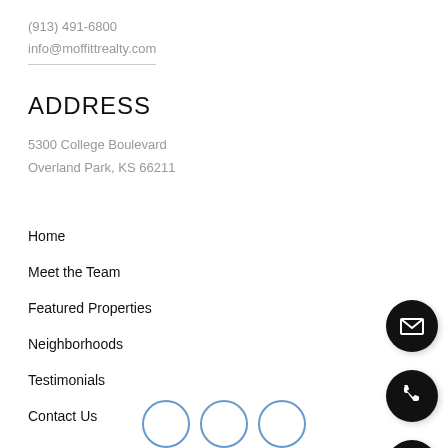(913) 491-6800
info@moffittrealty.com
ADDRESS
5300 College Boulevard
Overland Park, KS 66211
Home
Meet the Team
Featured Properties
Neighborhoods
Testimonials
Contact Us
[Figure (infographic): Three black circular icon buttons on the right side: email envelope icon, phone icon, and search/magnifying glass icon]
[Figure (infographic): Three partially visible circular social media icon buttons at the bottom center]